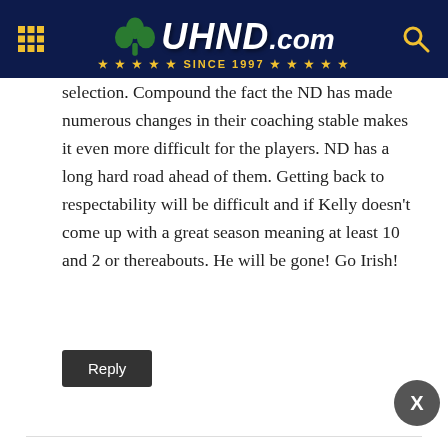UHND.com Since 1997
selection. Compound the fact the ND has made numerous changes in their coaching stable makes it even more difficult for the players. ND has a long hard road ahead of them. Getting back to respectability will be difficult and if Kelly doesn’t come up with a great season meaning at least 10 and 2 or thereabouts. He will be gone! Go Irish!
Reply
Ryan Reese
January 22, 2017 at 8:59 pm